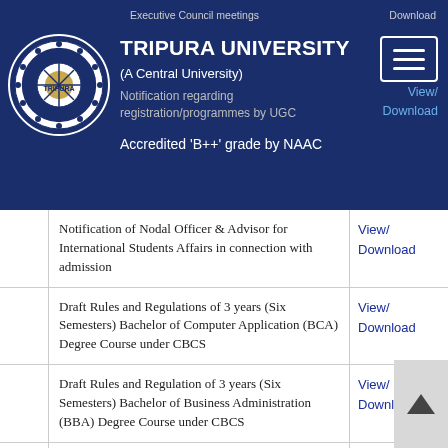Executive Council meetings | Download
TRIPURA UNIVERSITY
(A Central University)
Notification regarding registration/programmes by UGC
View/Download
Accredited 'B++' grade by NAAC
|  | Description | Link |
| --- | --- | --- |
|  | Notification of Nodal Officer & Advisor for International Students Affairs in connection with admission | View/
Download |
|  | Draft Rules and Regulations of 3 years (Six Semesters) Bachelor of Computer Application (BCA) Degree Course under CBCS | View/
Download |
|  | Draft Rules and Regulation of 3 years (Six Semesters) Bachelor of Business Administration (BBA) Degree Course under CBCS | View/
Download |
|  | Notice regarding adoption of UGC approved list of journals | View/
Download |
|  | Notification: Tripura Sundari College of Nursing is not affiliated to Tripura University | View/
Download |